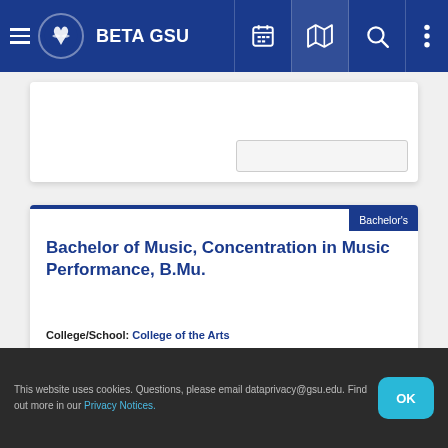BETA GSU
Bachelor of Music, Concentration in Music Performance, B.Mu.
College/School: College of the Arts
Locations: Atlanta Campus
Interest Area: Humanities & Arts
This website uses cookies. Questions, please email dataprivacy@gsu.edu. Find out more in our Privacy Notices.